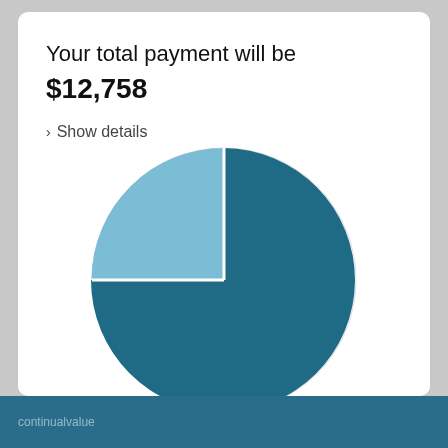Your total payment will be $12,758
Show details
[Figure (pie-chart): Total payment breakdown]